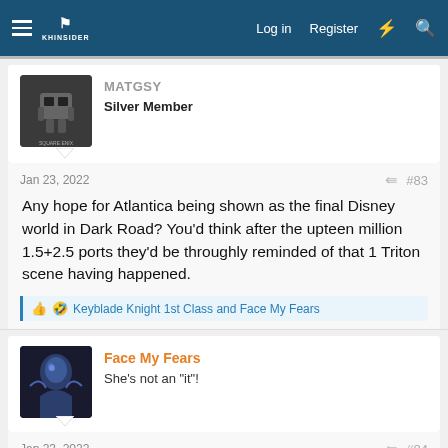KHInsider forum header with Log in, Register navigation
[Figure (illustration): Avatar of MATGSY user showing a Square Enix character/robot]
MATGSY
Silver Member
Jan 23, 2022
#83
Any hope for Atlantica being shown as the final Disney world in Dark Road? You'd think after the upteen million 1.5+2.5 ports they'd be throughly reminded of that 1 Triton scene having happened.
Keyblade Knight 1st Class and Face My Fears
[Figure (illustration): Avatar of Face My Fears user showing a blue-toned female character]
Face My Fears
She's not an "it"!
Jan 23, 2022
#84